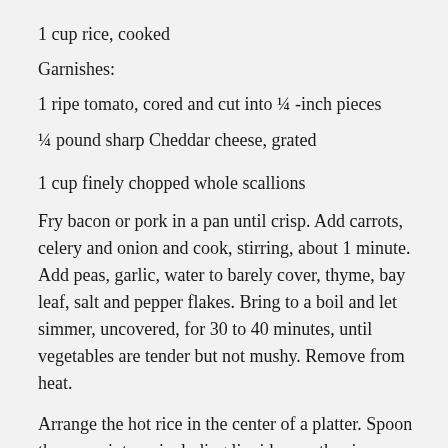1 cup rice, cooked
Garnishes:
1 ripe tomato, cored and cut into ¼ -inch pieces
¼ pound sharp Cheddar cheese, grated
1 cup finely chopped whole scallions
Fry bacon or pork in a pan until crisp. Add carrots, celery and onion and cook, stirring, about 1 minute. Add peas, garlic, water to barely cover, thyme, bay leaf, salt and pepper flakes. Bring to a boil and let simmer, uncovered, for 30 to 40 minutes, until vegetables are tender but not mushy. Remove from heat.
Arrange the hot rice in the center of a platter. Spoon the pea mixture, including liquid, over the rice. Garnish by arranging tomato chunks around the platter and sprinkling